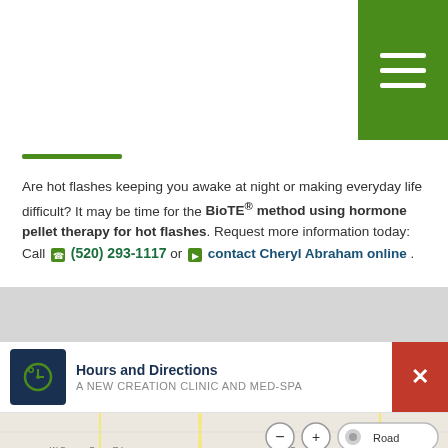[Figure (other): Green hamburger menu button in top right corner]
Are hot flashes keeping you awake at night or making everyday life difficult? It may be time for the BioTE® method using hormone pellet therapy for hot flashes. Request more information today: Call (520) 293-1117 or contact Cheryl Abraham online.
Hours and Directions
A NEW CREATION CLINIC AND MED-SPA
[Figure (map): Street map showing location near W Orange Grove Rd with a red pin marker at Northwest Medical Center. Map controls show zoom in/out and Road view option. Scale shows 2500 feet / 500 m.]